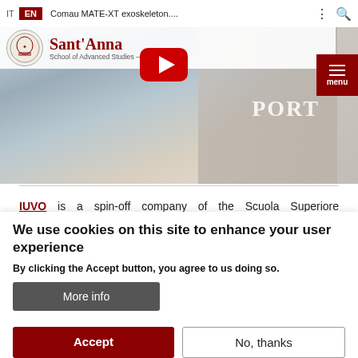IT  EN  Comau MATE-XT exoskeleton....  [search]
[Figure (screenshot): Sant'Anna School of Advanced Studies Pisa logo with circular emblem, navigation bar with IT/EN language switcher, hamburger menu button, and hero image of a person in protective suit handling industrial equipment with YouTube play button overlay and 'PORT' text visible]
IUVO is a spin-off company of the Scuola Superiore Sant'Anna (SSSA) of Pisa and its Institute of BioRobotics. It
We use cookies on this site to enhance your user experience
By clicking the Accept button, you agree to us doing so.
More info
Accept
No, thanks